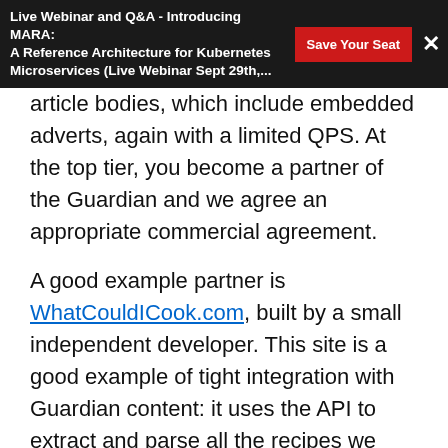Live Webinar and Q&A - Introducing MARA: A Reference Architecture for Kubernetes Microservices (Live Webinar Sept 29th,…
article bodies, which include embedded adverts, again with a limited QPS. At the top tier, you become a partner of the Guardian and we agree an appropriate commercial agreement.

A good example partner is WhatCouldICook.com, built by a small independent developer. This site is a good example of tight integration with Guardian content: it uses the API to extract and parse all the recipes we publish and present them in a great way for people wanting to cook. Furthermore, our readers benefit because we include functionality from whatcouldicook.com on our site, see for example the recipe search